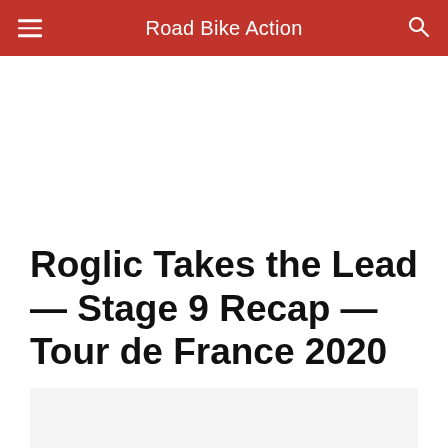Road Bike Action
Roglic Takes the Lead — Stage 9 Recap — Tour de France 2020
[Figure (other): Light gray placeholder image area below article title]